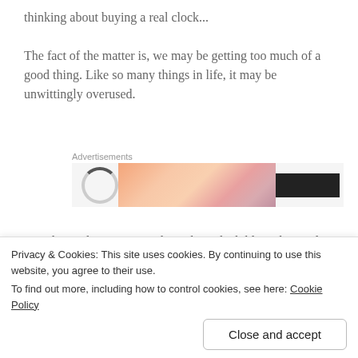thinking about buying a real clock...
The fact of the matter is, we may be getting too much of a good thing. Like so many things in life, it may be unwittingly overused.
[Figure (other): Advertisements banner with loading spinner and colorful gradient image]
One theme that is present throughout the bible is the need to rest or cease from certain activities for a time. God rested on the 7th day from His work (Genesis 2.2).
Privacy & Cookies: This site uses cookies. By continuing to use this website, you agree to their use.
To find out more, including how to control cookies, see here: Cookie Policy
Close and accept